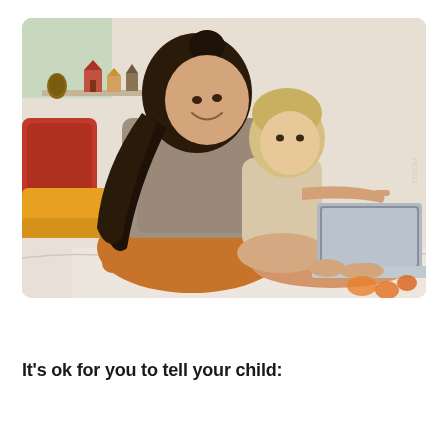[Figure (photo): A woman with long dark hair sits on a bed smiling, with a young toddler sitting on her lap. The toddler is pointing at a laptop computer that the woman is holding. There are colorful pillows (red, orange/yellow) behind them. On a shelf in the background are small decorative items including what appears to be small house figurines and a pine cone.]
It's ok for you to tell your child: